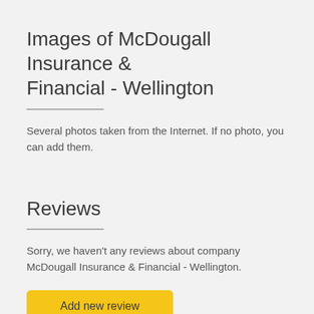Images of McDougall Insurance & Financial - Wellington
Several photos taken from the Internet. If no photo, you can add them.
Reviews
Sorry, we haven't any reviews about company McDougall Insurance & Financial - Wellington.
Add new review